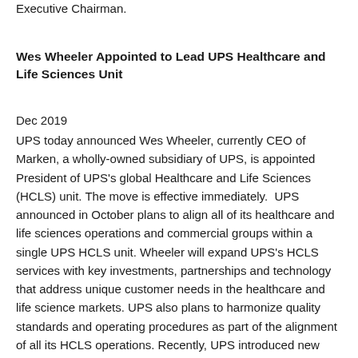Executive Chairman.
Wes Wheeler Appointed to Lead UPS Healthcare and Life Sciences Unit
Dec 2019
UPS today announced Wes Wheeler, currently CEO of Marken, a wholly-owned subsidiary of UPS, is appointed President of UPS's global Healthcare and Life Sciences (HCLS) unit. The move is effective immediately. UPS announced in October plans to align all of its healthcare and life sciences operations and commercial groups within a single UPS HCLS unit. Wheeler will expand UPS's HCLS services with key investments, partnerships and technology that address unique customer needs in the healthcare and life science markets. UPS also plans to harmonize quality standards and operating procedures as part of the alignment of all its HCLS operations. Recently, UPS introduced new technology-enabled solutions for critical healthcare packages that leverage the company's data networks to offer improved package tracking, special handling...